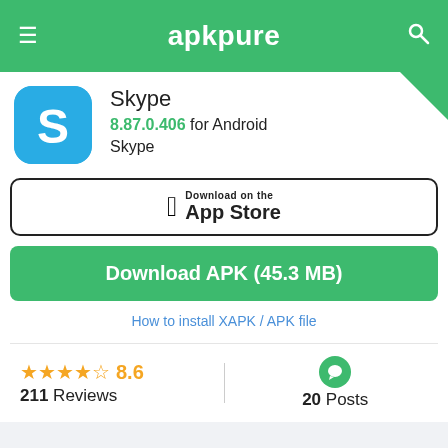apkpure
[Figure (logo): Skype app icon — blue circle with white S letter]
Skype
8.87.0.406 for Android
Skype
[Figure (other): Download on the App Store button]
Download APK (45.3 MB)
How to install XAPK / APK file
★★★★½ 8.6
211 Reviews
20 Posts
Use APKPure APP
Get the latest update of Skype on Android
Download